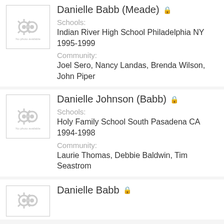[Figure (other): Profile avatar placeholder with gear icon for Danielle Babb (Meade)]
Danielle Babb (Meade)
Schools:
Indian River High School Philadelphia NY 1995-1999
Community:
Joel Sero, Nancy Landas, Brenda Wilson, John Piper
[Figure (other): Profile avatar placeholder with gear icon for Danielle Johnson (Babb)]
Danielle Johnson (Babb)
Schools:
Holy Family School South Pasadena CA 1994-1998
Community:
Laurie Thomas, Debbie Baldwin, Tim Seastrom
[Figure (other): Profile avatar placeholder with gear icon for Danielle Babb]
Danielle Babb